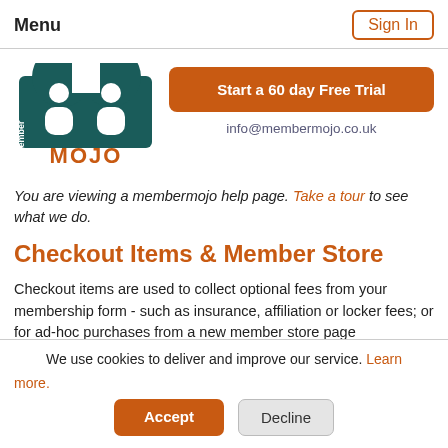Menu | Sign In
[Figure (logo): MemberMojo logo: teal arch with two white person figures and 'member MOJO' text]
Start a 60 day Free Trial
info@membermojo.co.uk
You are viewing a membermojo help page. Take a tour to see what we do.
Checkout Items & Member Store
Checkout items are used to collect optional fees from your membership form - such as insurance, affiliation or locker fees; or for ad-hoc purchases from a new member store page
We use cookies to deliver and improve our service. Learn more. Accept Decline